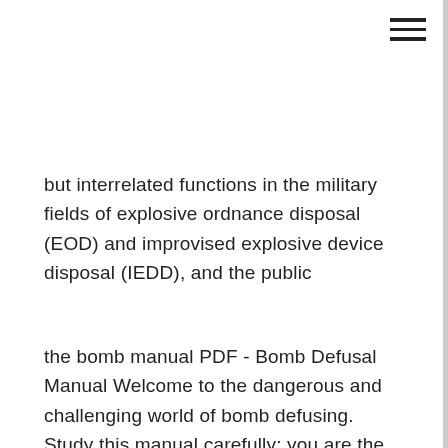≡
but interrelated functions in the military fields of explosive ordnance disposal (EOD) and improvised explosive device disposal (IEDD), and the public
the bomb manual PDF - Bomb Defusal Manual Welcome to the dangerous and challenging world of bomb defusing. Study this manual carefully; you are the expert. In these pages you will find Bomb Defusal Manual Get the companion bomb defusal manual for the video game Keep Talking and Nobody Explodes! View / Print PDF · View as Webpage · How to The objective of the game is defuse a bomb before